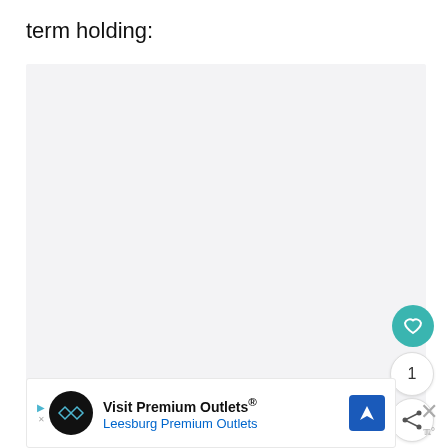term holding:
[Figure (other): Large light gray rectangular content area placeholder]
[Figure (other): UI elements: teal heart/favorite button, count circle showing 1, share button with share icon]
[Figure (other): Advertisement banner: Visit Premium Outlets® Leesburg Premium Outlets with navigation arrow icon, close X button]